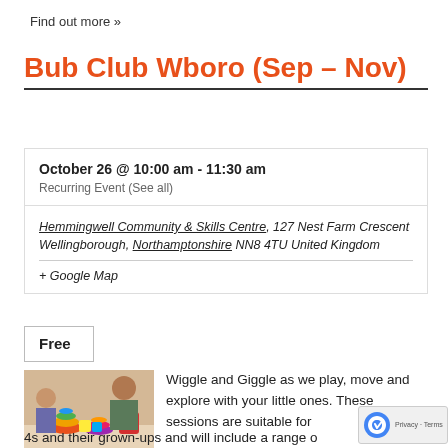Find out more »
Bub Club Wboro (Sep – Nov)
October 26 @ 10:00 am - 11:30 am
Recurring Event (See all)
Hemmingwell Community & Skills Centre, 127 Nest Farm Crescent
Wellingborough, Northamptonshire NN8 4TU United Kingdom
+ Google Map
Free
[Figure (photo): Photo of a baby or toddler playing with colorful stacking toys at a table, with an adult (caregiver) visible in the background.]
Wiggle and Giggle as we play, move and explore with your little ones. These sessions are suitable for
4s and their grown-ups and will include a range o